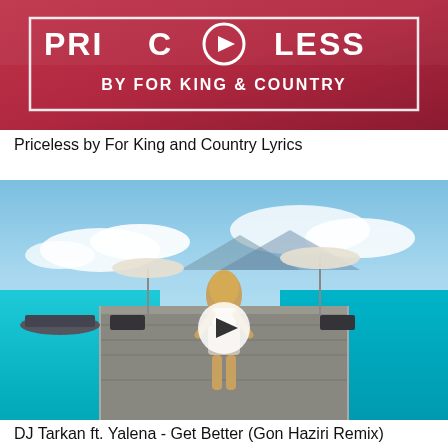[Figure (photo): Thumbnail image for 'Priceless by For King & Country' music video. Red/pink background with white bold text reading 'PRICELESS BY FOR KING & COUNTRY' and a play button icon in the center.]
Priceless by For King and Country Lyrics
[Figure (photo): Thumbnail image for 'DJ Tarkan ft. Yalena - Get Better (Gon Haziri Remix)'. Shows a blonde woman in a bikini viewed from behind, standing on an overwater dock/pier with turquoise ocean, boats, umbrellas, and mountains in the background. A white play button circle is overlaid in the center.]
DJ Tarkan ft. Yalena - Get Better (Gon Haziri Remix)